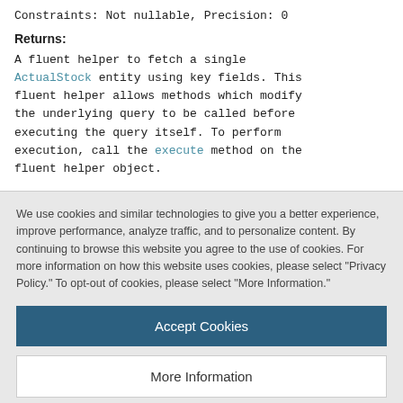Constraints: Not nullable, Precision: 0
Returns:
A fluent helper to fetch a single ActualStock entity using key fields. This fluent helper allows methods which modify the underlying query to be called before executing the query itself. To perform execution, call the execute method on the fluent helper object.
We use cookies and similar technologies to give you a better experience, improve performance, analyze traffic, and to personalize content. By continuing to browse this website you agree to the use of cookies. For more information on how this website uses cookies, please select "Privacy Policy." To opt-out of cookies, please select "More Information."
Accept Cookies
More Information
Privacy Policy | Powered by: TrustArc
getAllLongestPathToBOM in